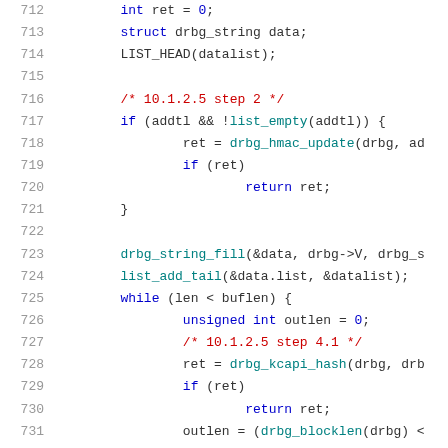[Figure (screenshot): Source code listing showing C code lines 712–733, with syntax highlighting. Line numbers in gray on the left, keywords in blue, function calls in teal, comments in red, numbers in blue, and regular code in dark gray.]